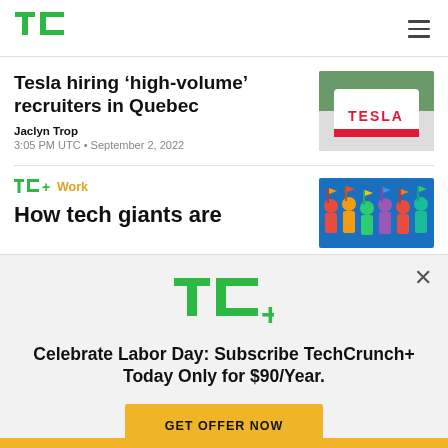TechCrunch
Tesla hiring ‘high-volume’ recruiters in Quebec
Jaclyn Trop
3:05 PM UTC • September 2, 2022
[Figure (photo): Tesla logo/signage photo]
[Figure (illustration): Colorful crowd illustration for TC+ Work article]
TC+ Work
How tech giants are
[Figure (infographic): TC+ subscription modal overlay with logo and offer]
Celebrate Labor Day: Subscribe TechCrunch+ Today Only for $90/Year.
GET OFFER NOW